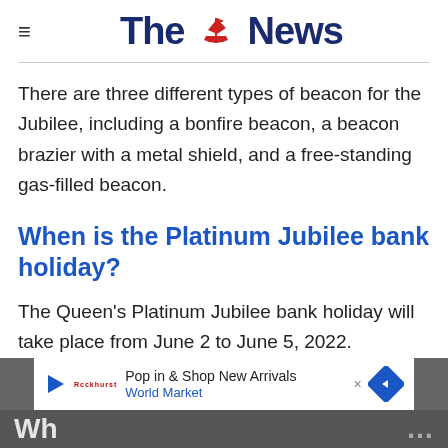The News
There are three different types of beacon for the Jubilee, including a bonfire beacon, a beacon brazier with a metal shield, and a free-standing gas-filled beacon.
When is the Platinum Jubilee bank holiday?
The Queen's Platinum Jubilee bank holiday will take place from June 2 to June 5, 2022.
[Figure (other): Advertisement banner: Pop in & Shop New Arrivals – World Market]
Wh...